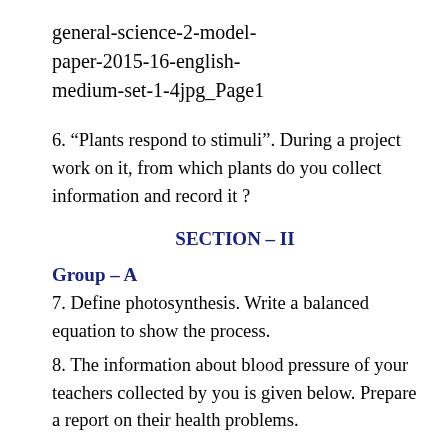general-science-2-model-paper-2015-16-english-medium-set-1-4jpg_Page1
6. “Plants respond to stimuli”. During a project work on it, from which plants do you collect information and record it ?
SECTION – II
Group – A
7. Define photosynthesis. Write a balanced equation to show the process.
8. The information about blood pressure of your teachers collected by you is given below. Prepare a report on their health problems.